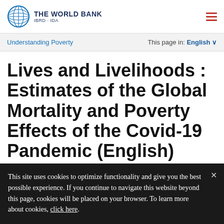THE WORLD BANK IBRD · IDA
Understanding Poverty | This page in: English
Lives and Livelihoods : Estimates of the Global Mortality and Poverty Effects of the Covid-19 Pandemic (English)
This site uses cookies to optimize functionality and give you the best possible experience. If you continue to navigate this website beyond this page, cookies will be placed on your browser. To learn more about cookies, click here.